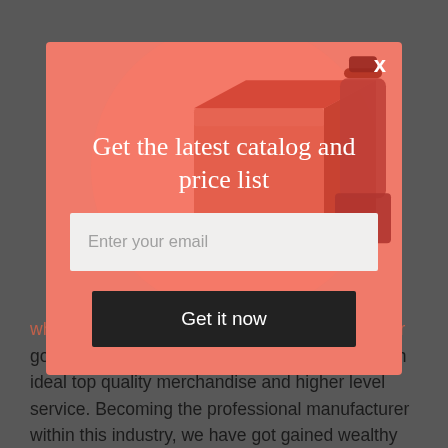[Figure (screenshot): Modal popup overlay on a webpage with salmon/coral background, decorative 3D product illustrations (box and bottle), title 'Get the latest catalog and price list', email input field, and 'Get it now' dark button. Behind the modal, partially visible body text about wheat straw double insulated gift mug tumbler goods supplier.]
wheat straw double insulated gift mug tumbler goods supplier in China, we help our buyers with ideal top quality merchandise and higher level service. Becoming the professional manufacturer within this industry, we have got gained wealthy practical experience in making and managing. Our stainless steel mug bpa free goods won certifications of your local and international main